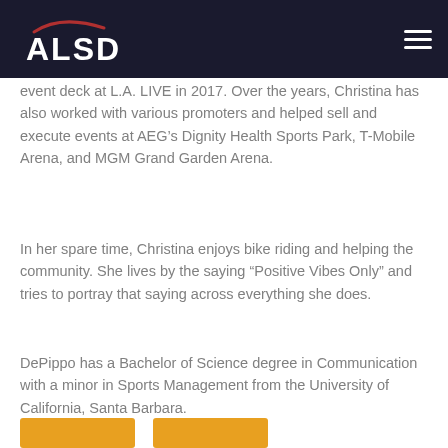ALSD logo and navigation
event deck at L.A. LIVE in 2017. Over the years, Christina has also worked with various promoters and helped sell and execute events at AEG’s Dignity Health Sports Park, T-Mobile Arena, and MGM Grand Garden Arena.
In her spare time, Christina enjoys bike riding and helping the community. She lives by the saying “Positive Vibes Only” and tries to portray that saying across everything she does.
DePippo has a Bachelor of Science degree in Communication with a minor in Sports Management from the University of California, Santa Barbara.